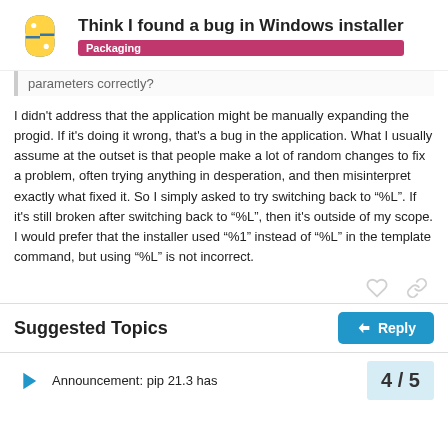Think I found a bug in Windows installer — Packaging
parameters correctly?
I didn't address that the application might be manually expanding the progid. If it's doing it wrong, that's a bug in the application. What I usually assume at the outset is that people make a lot of random changes to fix a problem, often trying anything in desperation, and then misinterpret exactly what fixed it. So I simply asked to try switching back to “%L”. If it's still broken after switching back to “%L”, then it's outside of my scope. I would prefer that the installer used “%1” instead of “%L” in the template command, but using “%L” is not incorrect.
Suggested Topics
Announcement: pip 21.3 has
4 / 5